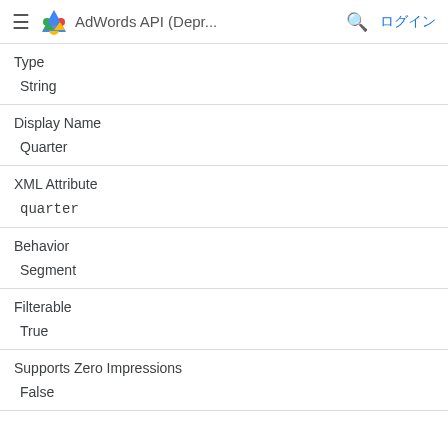AdWords API (Depr... ログイン
| Field | Value |
| --- | --- |
| Type | String |
| Display Name | Quarter |
| XML Attribute | quarter |
| Behavior | Segment |
| Filterable | True |
| Supports Zero Impressions | False |